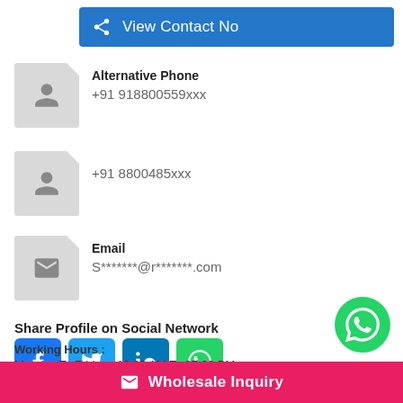View Contact No
Alternative Phone
+91 918800559xxx
+91 8800485xxx
Email
S*******@r*******.com
Share Profile on Social Network
Working Hours :
Monday To Friday : 10:00 AM To 07:00 PM
Wholesale Inquiry